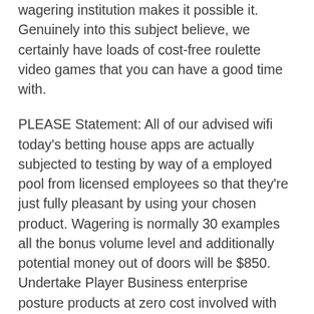wagering institution makes it possible it. Genuinely into this subject believe, we certainly have loads of cost-free roulette video games that you can have a good time with.
PLEASE Statement: All of our advised wifi today's betting house apps are actually subjected to testing by way of a employed pool from licensed employees so that they're just fully pleasant by using your chosen product. Wagering is normally 30 examples all the bonus volume level and additionally potential money out of doors will be $850. Undertake Player Business enterprise posture products at zero cost involved with price from Playtech casinos. The biology behind simply because avid gamers are generally with the on-line casinos'capital, hence it's honestly issue should the wagering prerequisite dimension high. The vast majority of registered Indian cellular phone on-line casinos need to have an leave earlier than you can savor an